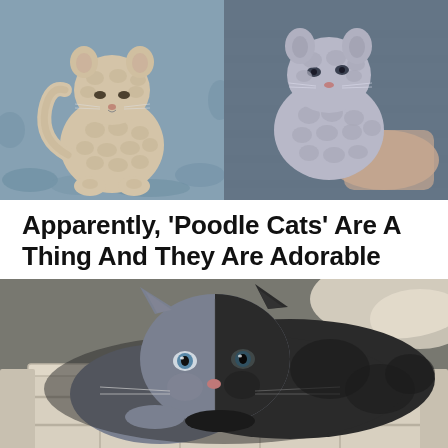[Figure (photo): Two side-by-side photos of curly-haired 'poodle cats' (likely Selkirk Rex kittens). Left: a cream/beige curly-coated kitten sitting on a textured blue-grey blanket. Right: a grey curly-coated kitten on a knitted grey blanket.]
Apparently, ‘Poodle Cats’ Are A Thing And They Are Adorable
[Figure (photo): A two-toned cat (chimera cat) with half grey and half dark/black face lying inside a white wooden crate/box. The cat has one blue eye on the grey side and one darker eye on the black side.]